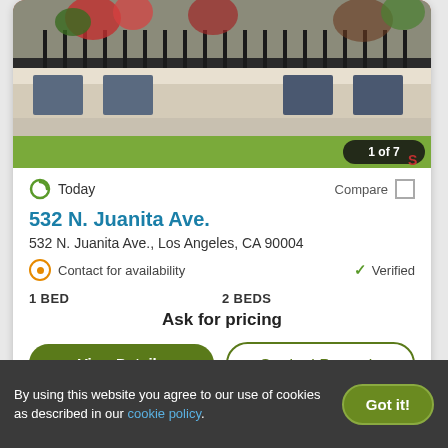[Figure (photo): Exterior photo of apartment building at 532 N. Juanita Ave., Los Angeles. Shows building facade with iron fence, flowers, and green lawn. Badge overlay reads '1 of 7'.]
Today
Compare
532 N. Juanita Ave.
532 N. Juanita Ave., Los Angeles, CA 90004
Contact for availability
Verified
1 BED    2 BEDS
Ask for pricing
View Details
Contact Property
[Figure (screenshot): Blue gradient card area partially visible at bottom of listing feed]
By using this website you agree to our use of cookies as described in our cookie policy.
Got it!